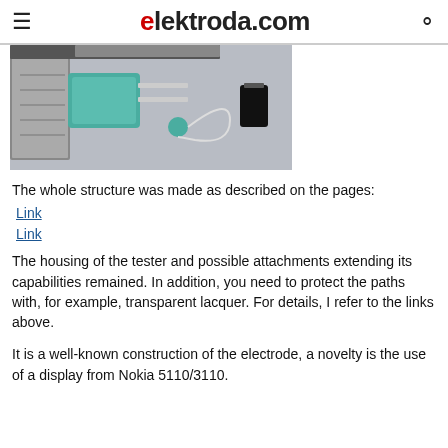elektroda.com
[Figure (photo): Close-up photograph of an electronic tester device with a teal/turquoise housing, metal pins, wiring components, and a small capacitor visible on a light background.]
The whole structure was made as described on the pages:
Link
Link
The housing of the tester and possible attachments extending its capabilities remained. In addition, you need to protect the paths with, for example, transparent lacquer. For details, I refer to the links above.
It is a well-known construction of the electrode, a novelty is the use of a display from Nokia 5110/3110.